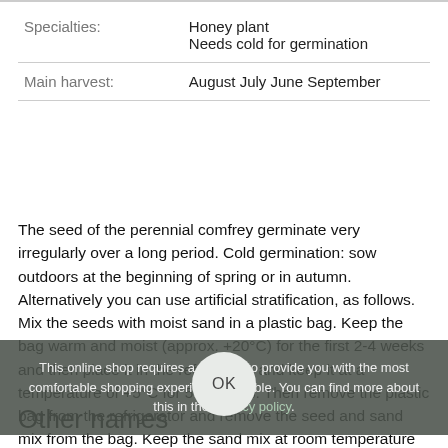| Field | Value |
| --- | --- |
| Specialties: | Honey plant
Needs cold for germination |
| Main harvest: | August July June September |
The seed of the perennial comfrey germinate very irregularly over a long period. Cold germination: sow outdoors at the beginning of spring or in autumn. Alternatively you can use artificial stratification, as follows. Mix the seeds with moist sand in a plastic bag. Keep the bag warm and moist (approx. +20°C) for the first 2-4 weeks and then place it in the refrigerator and keep it at a temperature of +5°C for 5-6 weeks. Then remove the plastic bag from the refrigerator and remove the seed and sand mix from the bag. Keep the sand mix at room temperature and check the seeds regularly to see when they germinate. Prick the seedlings into pots and plant them out after the last frosts in mid-May.
This online shop requires a cookie to provide you with the most comfortable shopping experience possible. You can find more about this in the Privacy policy.
Other names